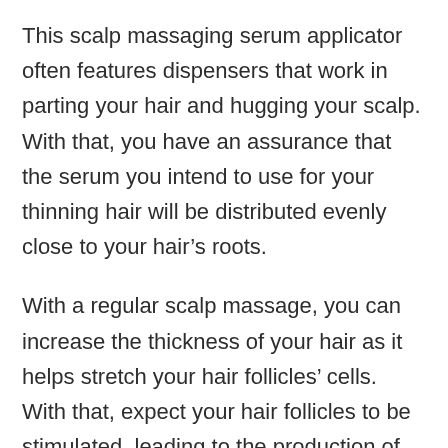This scalp massaging serum applicator often features dispensers that work in parting your hair and hugging your scalp. With that, you have an assurance that the serum you intend to use for your thinning hair will be distributed evenly close to your hair's roots.
With a regular scalp massage, you can increase the thickness of your hair as it helps stretch your hair follicles' cells. With that, expect your hair follicles to be stimulated, leading to the production of hair of your desired thickness. Moreover, a scalp massage can dilate blood